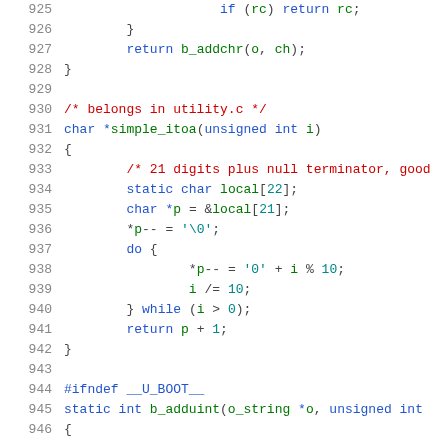Code listing lines 925-945, C source code with syntax highlighting